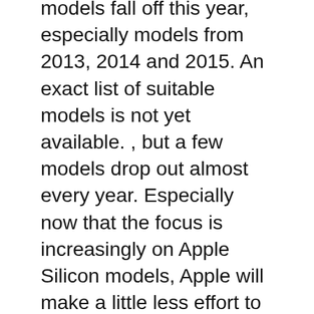models fall off this year, especially models from 2013, 2014 and 2015. An exact list of suitable models is not yet available. , but a few models drop out almost every year. Especially now that the focus is increasingly on Apple Silicon models, Apple will make a little less effort to continue to support older Intel Macs with the latest software update for a long time to come. And if your Intel Mac gets the update for macOS 13, keep in mind
We use cookies on our website to give you the most relevant experience by remembering your preferences and repeat visits. By clicking “Accept All”, you consent to the use of ALL the cookies. However, you may visit "Cookie Settings" to provide a controlled consent.
Cookie Settings
Accept All